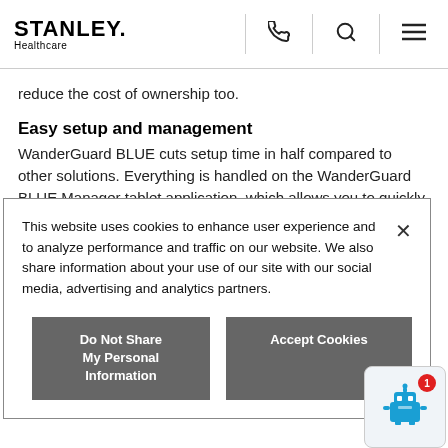STANLEY. Healthcare
reduce the cost of ownership too.
Easy setup and management
WanderGuard BLUE cuts setup time in half compared to other solutions. Everything is handled on the WanderGuard BLUE Manager tablet application, which allows you to quickly download door configuration templates and administer Door Controllers
This website uses cookies to enhance user experience and to analyze performance and traffic on our website. We also share information about your use of our site with our social media, advertising and analytics partners.
Do Not Share My Personal Information
Accept Cookies